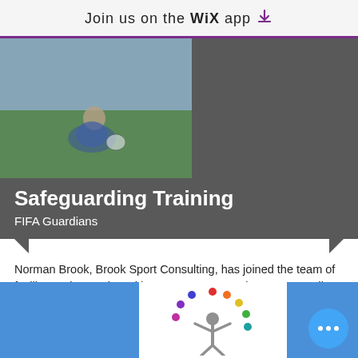Join us on the WiX app ↓
[Figure (photo): Photo of a child sitting on a football pitch with a ball, wearing a blue shirt, blurred background of green grass]
Safeguarding Training
FIFA Guardians
Norman Brook, Brook Sport Consulting, has joined the team of facilitators interacting with FIFA Learners on the FIFA Guardians Online Safeguarding Courses.
The FIFA Guardians courses were developed and are delivered by the Open University with three courses currently available in three languages and three categories of learner.
[Figure (logo): FIFA Guardians logo — colorful arc of dots in rainbow colors above a stylized person figure on white background]